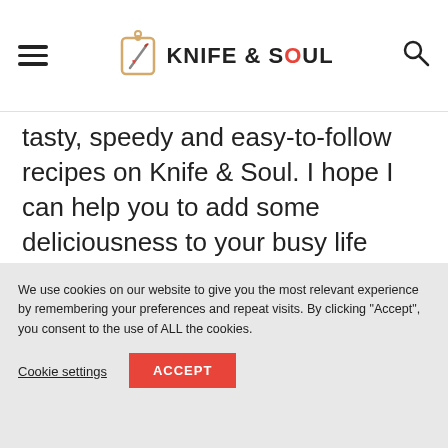KNIFE & SOUL
tasty, speedy and easy-to-follow recipes on Knife & Soul. I hope I can help you to add some deliciousness to your busy life today.
More about me →
We use cookies on our website to give you the most relevant experience by remembering your preferences and repeat visits. By clicking “Accept”, you consent to the use of ALL the cookies.
Cookie settings
ACCEPT